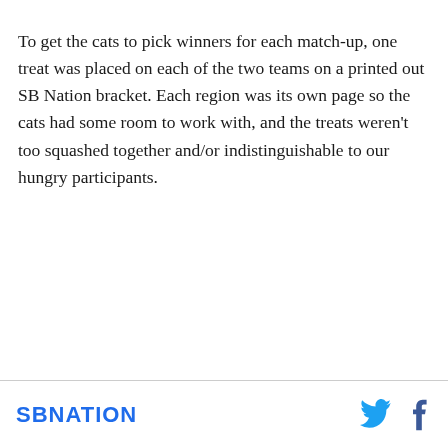To get the cats to pick winners for each match-up, one treat was placed on each of the two teams on a printed out SB Nation bracket. Each region was its own page so the cats had some room to work with, and the treats weren't too squashed together and/or indistinguishable to our hungry participants.
SBNATION [Twitter icon] [Facebook icon]